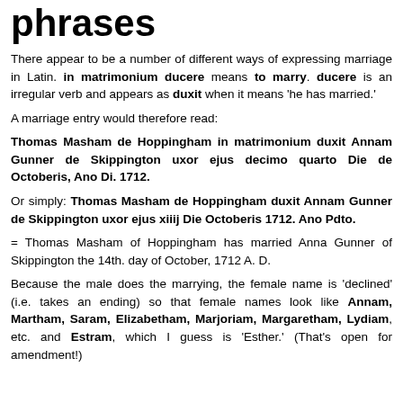phrases
There appear to be a number of different ways of expressing marriage in Latin. in matrimonium ducere means to marry. ducere is an irregular verb and appears as duxit when it means 'he has married.'
A marriage entry would therefore read:
Thomas Masham de Hoppingham in matrimonium duxit Annam Gunner de Skippington uxor ejus decimo quarto Die de Octoberis, Ano Di. 1712.
Or simply: Thomas Masham de Hoppingham duxit Annam Gunner de Skippington uxor ejus xiiij Die Octoberis 1712. Ano Pdto.
= Thomas Masham of Hoppingham has married Anna Gunner of Skippington the 14th. day of October, 1712 A. D.
Because the male does the marrying, the female name is 'declined' (i.e. takes an ending) so that female names look like Annam, Martham, Saram, Elizabetham, Marjoriam, Margaretham, Lydiam, etc. and Estram, which I guess is 'Esther.' (That's open for amendment!)